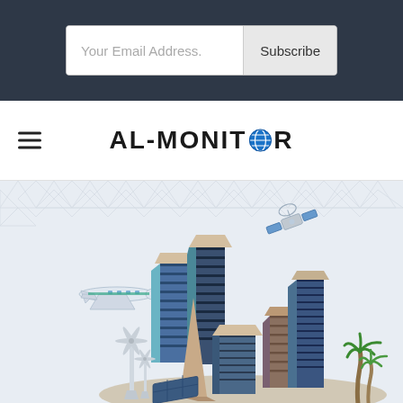Your Email Address. Subscribe
[Figure (logo): AL-MONITOR logo with hamburger menu icon]
[Figure (illustration): Isometric illustration of a modern city with skyscrapers, an airplane, wind turbines, solar panels, satellite, and palm trees on a light blue background with geometric pattern]